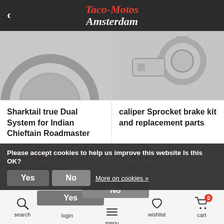Taco-Motos Amsterdam
[Figure (photo): Partial view of motorcycle exhaust system / wheel (left product image)]
[Figure (photo): Motorcycle caliper sprocket brake parts (right product image)]
Sharktail true Dual System for Indian Chieftain Roadmaster
€ 1.461,58
(€ 1.768,52 Incl. tax)
Compare
caliper Sprocket brake kit and replacement parts
€ 372,-
(€ 450,12 Incl. tax)
Compare
Please accept cookies to help us improve this website Is this OK?
search  login  menu  wishlist  cart